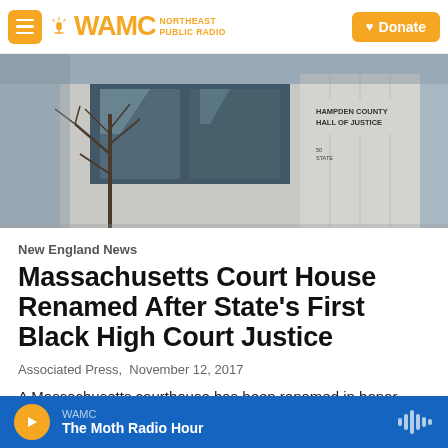WAMC Northeast Public Radio — Donate
[Figure (photo): Exterior photo of Hampden County Hall of Justice courthouse building with trees in foreground]
New England News
Massachusetts Court House Renamed After State's First Black High Court Justice
Associated Press,  November 12, 2017
A Massachusetts courthouse has been renamed in honor
WAMC — The Moth Radio Hour